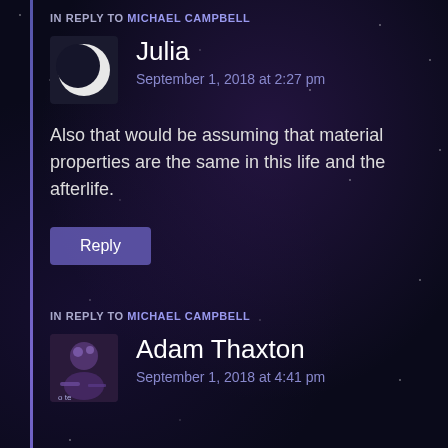IN REPLY TO MICHAEL CAMPBELL
[Figure (illustration): Crescent moon avatar icon for user Julia]
Julia
September 1, 2018 at 2:27 pm
Also that would be assuming that material properties are the same in this life and the afterlife.
Reply
IN REPLY TO MICHAEL CAMPBELL
[Figure (photo): Profile photo of Adam Thaxton, purple-toned character image]
Adam Thaxton
September 1, 2018 at 4:41 pm